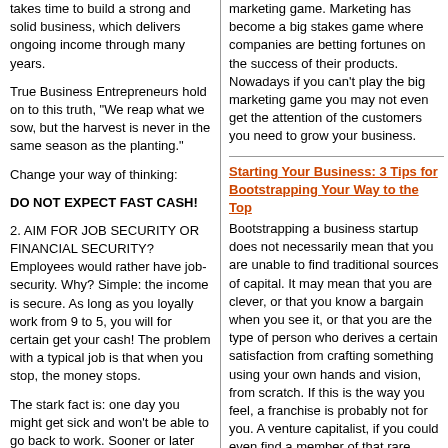takes time to build a strong and solid business, which delivers ongoing income through many years.
True Business Entrepreneurs hold on to this truth, "We reap what we sow, but the harvest is never in the same season as the planting."
Change your way of thinking:
DO NOT EXPECT FAST CASH!
2. AIM FOR JOB SECURITY OR FINANCIAL SECURITY?Employees would rather have job-security. Why? Simple: the income is secure. As long as you loyally work from 9 to 5, you will for certain get your cash! The problem with a typical job is that when you stop, the money stops.
The stark fact is: one day you might get sick and won't be able to go back to work. Sooner or later you will retire. Companies get broke and have to release their employees. No matter what the situation, as soon as you stop working, the money will stop
marketing game. Marketing has become a big stakes game where companies are betting fortunes on the success of their products. Nowadays if you can't play the big marketing game you may not even get the attention of the customers you need to grow your business.
Starting Your Business: 3 Tips for Bootstrapping Your Way to the Top
Bootstrapping a business startup does not necessarily mean that you are unable to find traditional sources of capital. It may mean that you are clever, or that you know a bargain when you see it, or that you are the type of person who derives a certain satisfaction from crafting something using your own hands and vision, from scratch. If this is the way you feel, a franchise is probably not for you. A venture capitalist, if you could even find a member of that rare species when you are just starting out, is also likely to want some or too much control, and your vision might be thrown out of the window in that scenario as well.
The Ideal Length of Your Business Plan
How long should a business plan be? A business plan needs to be whatever length is required to excite the investor, prove that management truly understands the market, and detail the execution strategy. From surveys of investor needs, Growthink has found that 15 to 25 pages of text is the optimum length in which to accomplish this. Any more and the time-constrained investor will be forced to skim certain sections of the plan, even if they are generally interested, which could lead them to miss essential elements. Any less and the investor will think that the business has not been fully thought through; it will give the